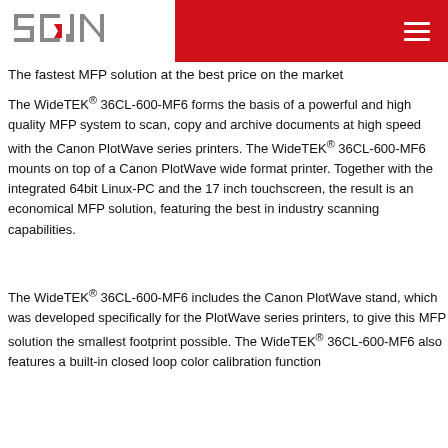SCAN [logo] / navigation menu
The fastest MFP solution at the best price on the market
The WideTEK® 36CL-600-MF6 forms the basis of a powerful and high quality MFP system to scan, copy and archive documents at high speed with the Canon PlotWave series printers. The WideTEK® 36CL-600-MF6 mounts on top of a Canon PlotWave wide format printer. Together with the integrated 64bit Linux-PC and the 17 inch touchscreen, the result is an  economical MFP solution, featuring the best in industry scanning capabilities.
The WideTEK® 36CL-600-MF6 includes the Canon PlotWave stand, which was developed specifically for the PlotWave series printers, to give this MFP solution the smallest footprint possible. The WideTEK® 36CL-600-MF6 also features a built-in closed loop color calibration function